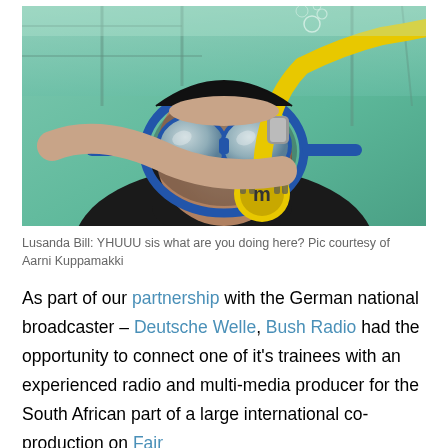[Figure (photo): Underwater photograph of a scuba diver wearing a blue-framed diving mask and a yellow-hose regulator with a yellow/black mouthpiece, in a pool with greenish water.]
Lusanda Bill: YHUUU sis what are you doing here? Pic courtesy of Aarni Kuppamakki
As part of our partnership with the German national broadcaster – Deutsche Welle, Bush Radio had the opportunity to connect one of it's trainees with an experienced radio and multi-media producer for the South African part of a large international co-production on Fair